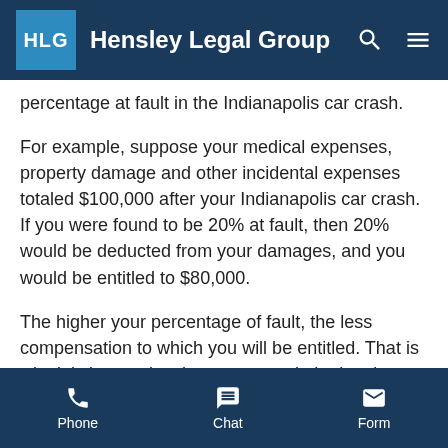Hensley Legal Group
percentage at fault in the Indianapolis car crash.
For example, suppose your medical expenses, property damage and other incidental expenses totaled $100,000 after your Indianapolis car crash. If you were found to be 20% at fault, then 20% would be deducted from your damages, and you would be entitled to $80,000.
The higher your percentage of fault, the less compensation to which you will be entitled. That is why it is imperative that you to seek the legal guidance of an Indianapolis auto accident attorney to help preserve your legal rights. If you try to handle an Indianapolis car crash claim on your own, you risk
Phone   Chat   Form